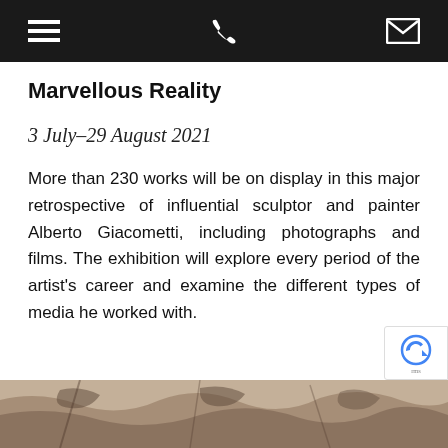Navigation bar with menu, phone and email icons
Marvellous Reality
3 July–29 August 2021
More than 230 works will be on display in this major retrospective of influential sculptor and painter Alberto Giacometti, including photographs and films. The exhibition will explore every period of the artist's career and examine the different types of media he worked with.
[Figure (photo): A sepia-toned photograph of artworks or exhibition content, partially visible at the bottom of the page]